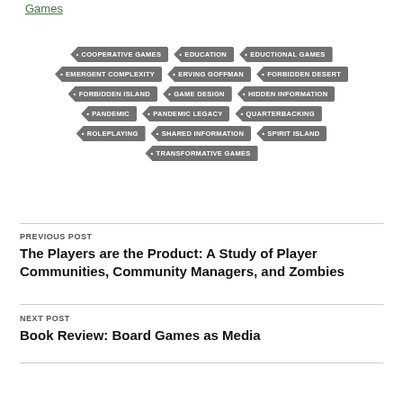Games
COOPERATIVE GAMES
EDUCATION
EDUCTIONAL GAMES
EMERGENT COMPLEXITY
ERVING GOFFMAN
FORBIDDEN DESERT
FORBIDDEN ISLAND
GAME DESIGN
HIDDEN INFORMATION
PANDEMIC
PANDEMIC LEGACY
QUARTERBACKING
ROLEPLAYING
SHARED INFORMATION
SPIRIT ISLAND
TRANSFORMATIVE GAMES
PREVIOUS POST
The Players are the Product: A Study of Player Communities, Community Managers, and Zombies
NEXT POST
Book Review: Board Games as Media